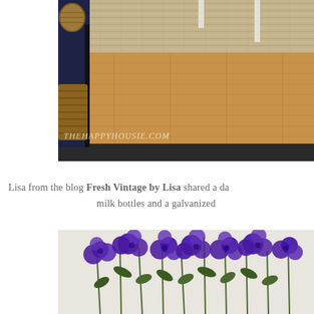[Figure (photo): Interior home decor photo showing hardwood floors, a seagrass rug, a dark metal shelf/bench with wicker baskets, and dark tile border. Watermark reads THEHAPPYHOUSIE.COM]
Lisa from the blog Fresh Vintage by Lisa shared a da... milk bottles and a galvanized...
[Figure (photo): Close-up photo of purple/violet flowers (appears to be delphinium or salvia) with green stems and leaves against a light background.]